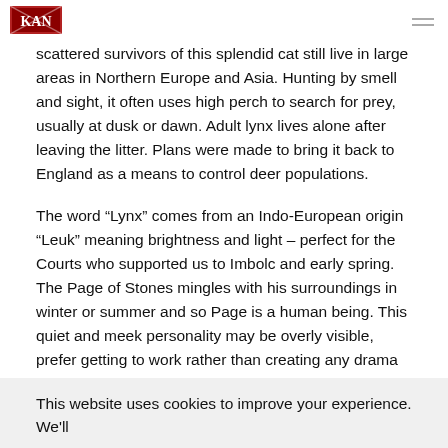[Logo] [Navigation menu icon]
scattered survivors of this splendid cat still live in large areas in Northern Europe and Asia. Hunting by smell and sight, it often uses high perch to search for prey, usually at dusk or dawn. Adult lynx lives alone after leaving the litter. Plans were made to bring it back to England as a means to control deer populations.
The word “Lynx” comes from an Indo-European origin “Leuk” meaning brightness and light – perfect for the Courts who supported us to Imbolc and early spring. The Page of Stones mingles with his surroundings in winter or summer and so Page is a human being. This quiet and meek personality may be overly visible, prefer getting to work rather than creating any drama or drawing attention to himself.
This website uses cookies to improve your experience. We'll